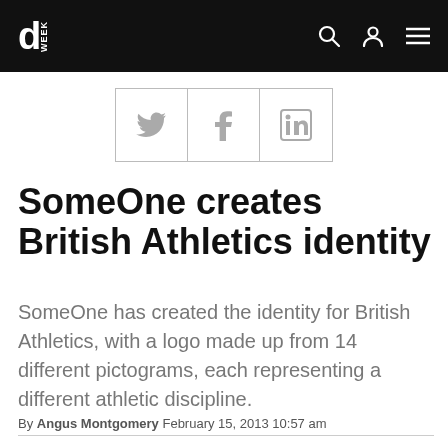Design Week
[Figure (other): Social share buttons for Twitter, Facebook, and LinkedIn arranged in a row with borders]
SomeOne creates British Athletics identity
SomeOne has created the identity for British Athletics, with a logo made up from 14 different pictograms, each representing a different athletic discipline.
By Angus Montgomery February 15, 2013 10:57 am